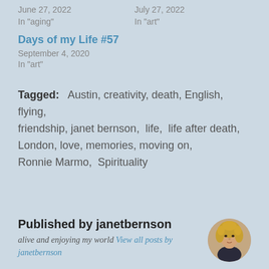June 27, 2022
In "aging"
July 27, 2022
In "art"
Days of my Life #57
September 4, 2020
In "art"
Tagged:  Austin, creativity, death, English, flying, friendship, janet bernson, life, life after death, London, love, memories, moving on, Ronnie Marmo, Spirituality
Published by janetbernson
alive and enjoying my world View all posts by janetbernson
[Figure (photo): Circular portrait photo of a woman with curly blonde hair, resting her chin on her hand]